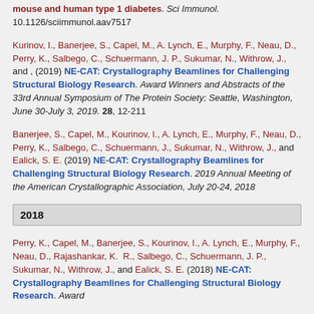mouse and human type 1 diabetes. Sci Immunol. 10.1126/sciimmunol.aav7517
Kurinov, I., Banerjee, S., Capel, M., A. Lynch, E., Murphy, F., Neau, D., Perry, K., Salbego, C., Schuermann, J. P., Sukumar, N., Withrow, J., and , (2019) NE-CAT: Crystallography Beamlines for Challenging Structural Biology Research. Award Winners and Abstracts of the 33rd Annual Symposium of The Protein Society; Seattle, Washington, June 30-July 3, 2019. 28, 12-211
Banerjee, S., Capel, M., Kourinov, I., A. Lynch, E., Murphy, F., Neau, D., Perry, K., Salbego, C., Schuermann, J., Sukumar, N., Withrow, J., and Ealick, S. E. (2019) NE-CAT: Crystallography Beamlines for Challenging Structural Biology Research. 2019 Annual Meeting of the American Crystallographic Association, July 20-24, 2018
2018
Perry, K., Capel, M., Banerjee, S., Kourinov, I., A. Lynch, E., Murphy, F., Neau, D., Rajashankar, K. R., Salbego, C., Schuermann, J. P., Sukumar, N., Withrow, J., and Ealick, S. E. (2018) NE-CAT: Crystallography Beamlines for Challenging Structural Biology Research. Award